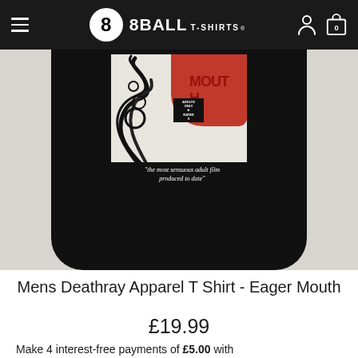8BALL T-SHIRTS
[Figure (photo): Product photo of a black t-shirt displayed against a light grey textured background (brick wall). The t-shirt features a graphic design with swirling black hair, red lips/mouth imagery, and text reading "the most sensuous adult film produced to date" with 'ADULTS ONLY RATED X' text visible. Partial red text spelling 'MOUTH' visible at top right of the design.]
Mens Deathray Apparel T Shirt - Eager Mouth
£19.99
Make 4 interest-free payments of £5.00 with